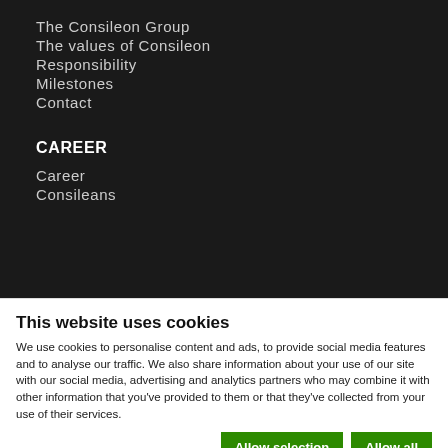The Consileon Group
The values of Consileon
Responsibility
Milestones
Contact
CAREER
Career
Consileans
This website uses cookies
We use cookies to personalise content and ads, to provide social media features and to analyse our traffic. We also share information about your use of our site with our social media, advertising and analytics partners who may combine it with other information that you've provided to them or that they've collected from your use of their services.
Allow selection | Allow all | Necessary | Preferences | Statistics | Marketing | Show details